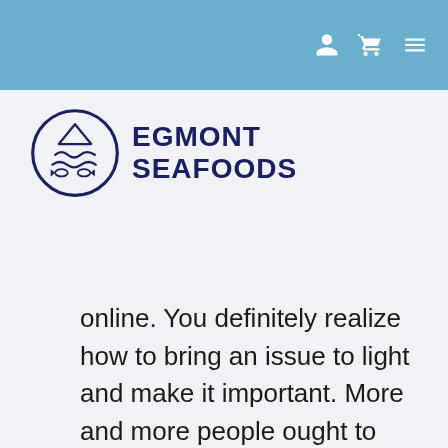[Figure (logo): Egmont Seafoods logo with circular fish/wave emblem and bold dark blue text reading EGMONT SEAFOODS]
online. You definitely realize how to bring an issue to light and make it important. More and more people ought to check this out and understand this side of your story. I can’t believe you are not more popular because you definitely possess the gift.|